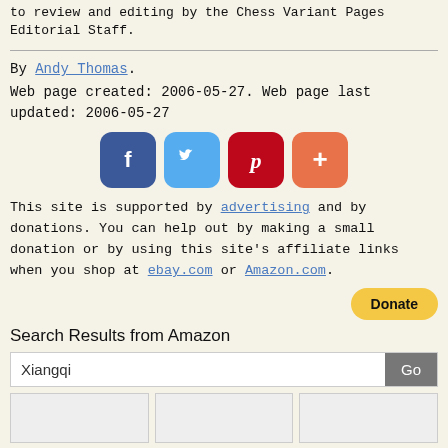to review and editing by the Chess Variant Pages Editorial Staff.
By Andy Thomas.
Web page created: 2006-05-27. Web page last updated: 2006-05-27
[Figure (infographic): Social media sharing buttons: Facebook (blue), Twitter (light blue), Pinterest (red), Google Plus (orange-red)]
This site is supported by advertising and by donations. You can help out by making a small donation or by using this site's affiliate links when you shop at ebay.com or Amazon.com.
[Figure (other): PayPal Donate button (yellow rounded rectangle)]
Search Results from Amazon
[Figure (screenshot): Amazon search bar with text 'Xiangqi' and a Go button]
[Figure (other): Three Amazon product thumbnail images in a row]